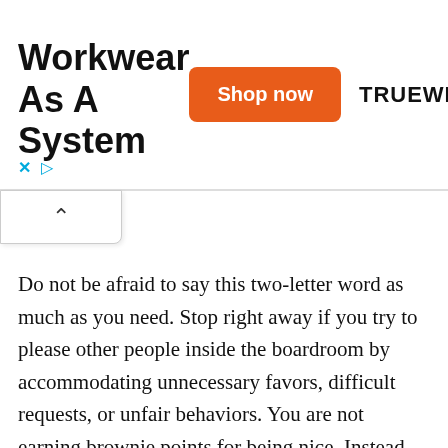[Figure (other): Advertisement banner for TRUEWERK workwear with 'Workwear As A System' title, orange 'Shop now' button, and TRUEWERK brand name]
Do not be afraid to say this two-letter word as much as you need. Stop right away if you try to please other people inside the boardroom by accommodating unnecessary favors, difficult requests, or unfair behaviors. You are not earning brownie points for being nice. Instead, people will